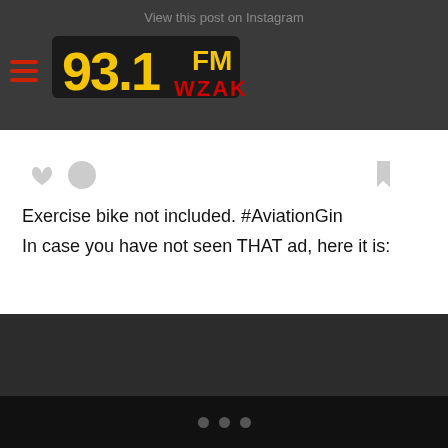View this post on Instagram
[Figure (logo): 93.1 FM WZAK radio station logo with hamburger menu icon on dark grey navigation bar]
[Figure (screenshot): Social media post interaction icons: heart, speech bubble on left; bookmark on right]
Exercise bike not included. #AviationGin
In case you have not seen THAT ad, here it is:
[Figure (screenshot): Embedded YouTube/video player showing 'This video is private' error message with warning icon circle]
• • •